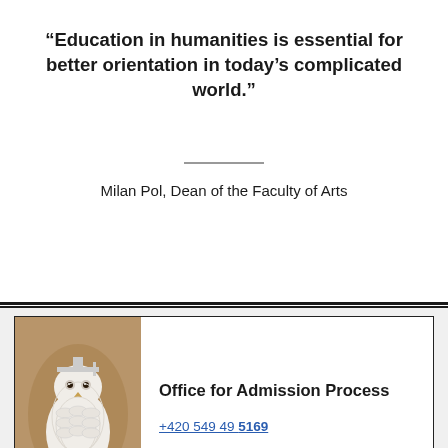“Education in humanities is essential for better orientation in today’s complicated world.”
Milan Pol, Dean of the Faculty of Arts
[Figure (photo): White ceramic owl figurine on a pedestal, photographed against a brownish-tan background]
Office for Admission Process
+420 549 49 5169
prijimaci.rizeni@phil.muni.cz
By clicking “Accept Cookies”, you agree to the